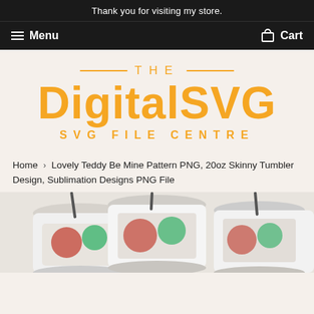Thank you for visiting my store.
Menu  Cart
[Figure (logo): The DigitalSVG SVG File Centre logo in orange/gold on beige background, with decorative horizontal lines flanking 'THE' text above large bold 'DigitalSVG' and 'SVG FILE CENTRE' below]
Home › Lovely Teddy Be Mine Pattern PNG, 20oz Skinny Tumbler Design, Sublimation Designs PNG File
[Figure (photo): Three cylindrical tumblers with colorful designs and metal straws, partially visible at bottom of page]